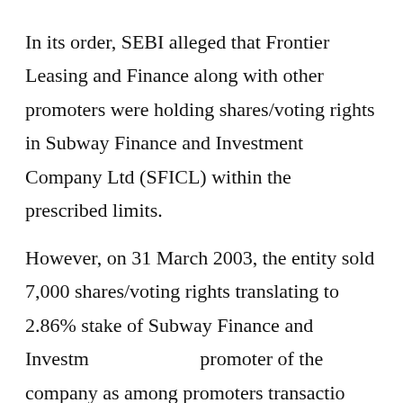In its order, SEBI alleged that Frontier Leasing and Finance along with other promoters were holding shares/voting rights in Subway Finance and Investment Company Ltd (SFICL) within the prescribed limits.
However, on 31 March 2003, the entity sold 7,000 shares/voting rights translating to 2.86% stake of Subway Finance and Investment Company as a promoter of the company as among promoters transaction